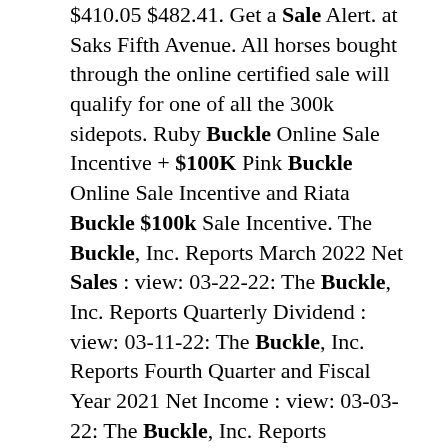$410.05 $482.41. Get a Sale Alert. at Saks Fifth Avenue. All horses bought through the online certified sale will qualify for one of all the 300k sidepots. Ruby Buckle Online Sale Incentive + $100K Pink Buckle Online Sale Incentive and Riata Buckle $100k Sale Incentive. The Buckle, Inc. Reports March 2022 Net Sales : view: 03-22-22: The Buckle, Inc. Reports Quarterly Dividend : view: 03-11-22: The Buckle, Inc. Reports Fourth Quarter and Fiscal Year 2021 Net Income : view: 03-03-22: The Buckle, Inc. Reports February 2022 Net Sales and Announces Fourth Quarter Earnings Conference Call. Buckle Shop .Com One of the Largest selection of new and vintage Belt Buckles on the web since 1999. With one of the largest selection of belt buckles on the web, we are sure we will have the right belt buckles for you! We also have high quality leather belts, bolo ties, and more diverse items and tools